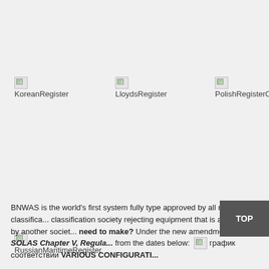[Figure (logo): Broken image placeholder for KoreanRegister logo]
[Figure (logo): Broken image placeholder for LloydsRegister logo]
[Figure (logo): Broken image placeholder for PolishRegisterC... logo]
[Figure (logo): Broken image placeholder for RussianMaritimeRegister logo]
BNWAS is the world's first system fully type approved by all major classifica... classification society rejecting equipment that is approved by another societ... need to make? Under the new amendments to SOLAS Chapter V, Regula... from the dates below: [image: график соответствии] VARIOUS CONFIGURATI...